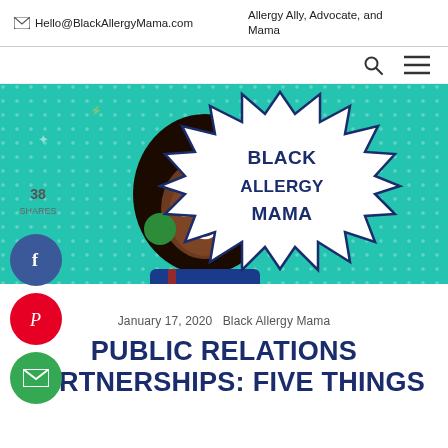Hello@BlackAllergyMama.com  |  Allergy Ally, Advocate, and Mama
[Figure (illustration): Black Allergy Mama website banner with illustrated Black woman with afro and glasses, teal dotted background, and 'BLACK ALLERGY MAMA' text in a comic-style speech burst]
38 SHARES
[Figure (infographic): Social share buttons: Facebook (blue circle), Pinterest (red circle with P), Email (green circle with envelope icon)]
January 17, 2020   Black Allergy Mama
PUBLIC RELATIONS PARTNERSHIPS: FIVE THINGS